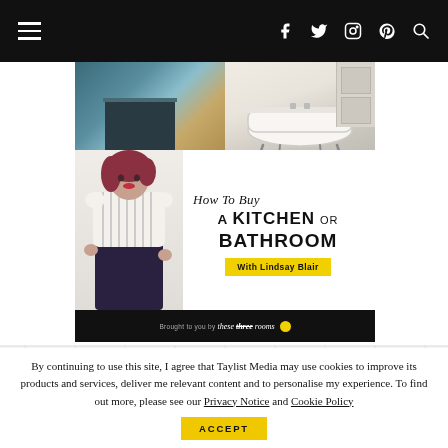Navigation bar with hamburger menu, social icons (f, Twitter, Instagram, Pinterest) and search
[Figure (photo): Podcast/guide banner: 'How To Buy A Kitchen Or Bathroom With Lindsay Blair, brought to you by these three rooms'. Shows a woman in a striped top, a kitchen photo and a bathroom with freestanding bathtub.]
By continuing to use this site, I agree that Taylist Media may use cookies to improve its products and services, deliver me relevant content and to personalise my experience. To find out more, please see our Privacy Notice and Cookie Policy
ACCEPT